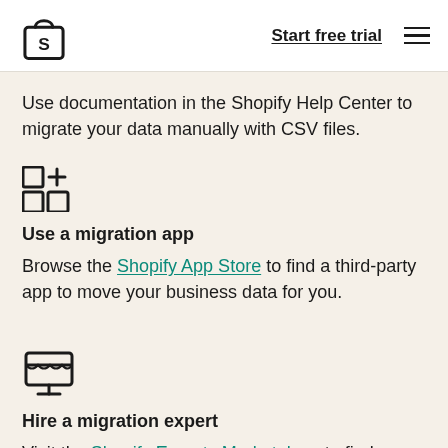Shopify — Start free trial
Use documentation in the Shopify Help Center to migrate your data manually with CSV files.
[Figure (illustration): Grid/apps icon with plus sign — migration app icon]
Use a migration app
Browse the Shopify App Store to find a third-party app to move your business data for you.
[Figure (illustration): Storefront/shop icon — migration expert icon]
Hire a migration expert
Visit the Shopify Experts Marketplace to find an expert who can import your data, transfer your